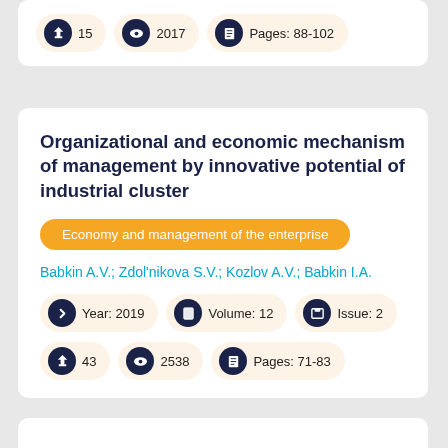15  2017  Pages: 88-102
Organizational and economic mechanism of management by innovative potential of industrial cluster
Economy and management of the enterprise
Babkin A.V.; Zdol'nikova S.V.; Kozlov A.V.; Babkin I.A.
Year: 2019  Volume: 12  Issue: 2
43  2538  Pages: 71-83